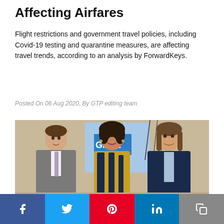Affecting Airfares
Flight restrictions and government travel policies, including Covid-19 testing and quarantine measures, are affecting travel trends, according to an analysis by ForwardKeys.
Posted On 06 Aug 2020, By GTP editing team
[Figure (photo): Three people standing in front of a Greece tourism banner: a man in a grey suit on the left, a woman in a patterned yellow and navy dress in the center, and a man in a dark blazer on the right.]
Social share bar with Facebook, Twitter, Pinterest, LinkedIn, and Copy buttons